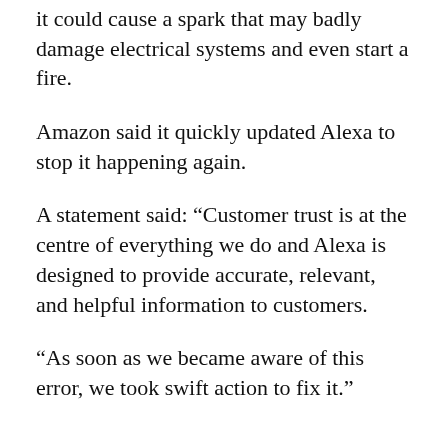it could cause a spark that may badly damage electrical systems and even start a fire.
Amazon said it quickly updated Alexa to stop it happening again.
A statement said: “Customer trust is at the centre of everything we do and Alexa is designed to provide accurate, relevant, and helpful information to customers.
“As soon as we became aware of this error, we took swift action to fix it.”